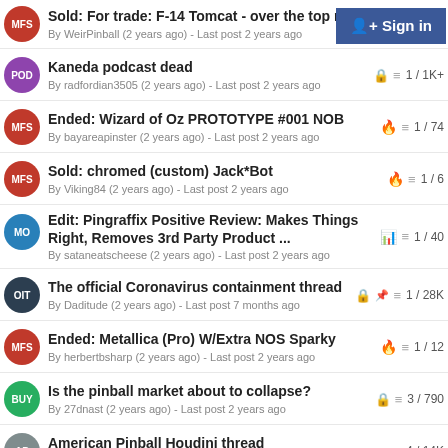Sold: For trade: F-14 Tomcat - over the top restoration
By WeirPinball (2 years ago) - Last post 2 years ago
Kaneda podcast dead
By radfordian3505 (2 years ago) - Last post 2 years ago | 1/1K+
Ended: Wizard of Oz PROTOTYPE #001 NOB
By bayareapinster (2 years ago) - Last post 2 years ago | 1/74
Sold: chromed (custom) Jack*Bot
By Viking84 (2 years ago) - Last post 2 years ago | 1/6
Edit: Pingraffix Positive Review: Makes Things Right, Removes 3rd Party Product ...
By sataneatscheese (2 years ago) - Last post 2 years ago | 1/40
The official Coronavirus containment thread
By Daditude (2 years ago) - Last post 7 months ago | 1/28K
Ended: Metallica (Pro) W/Extra NOS Sparky
By herbertbsharp (2 years ago) - Last post 2 years ago | 1/12
Is the pinball market about to collapse?
By 27dnast (2 years ago) - Last post 2 years ago | 3/790
American Pinball Houdini thread
By lllvjr (5 years ago) - Last post 7 hours ago | 4/14K
Sold: Houdini
By Butch2099 (2 years ago) - Last post 2 years ago | 1/8